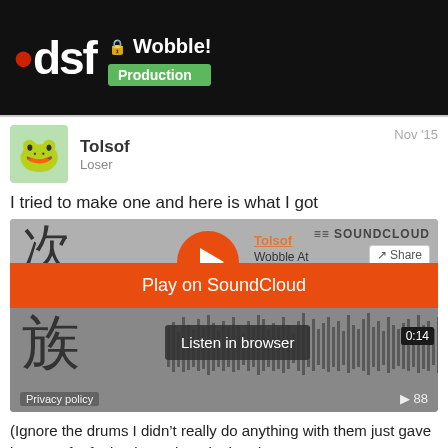dsf • Wobble! Production
Tolsof
Loser
Nov '15
I tried to make one and here is what I got
[Figure (screenshot): SoundCloud embedded audio player widget showing a track by Tolsof titled 'Wobble At' with play button, waveform, 'Play on SoundCloud' orange overlay button, 'Listen in browser' button, timestamp 0:14, and play count 88. Background shows Chinese/Japanese kanji characters. Privacy policy link visible at bottom left.]
(Ignore the drums I didn't really do anything with them just gave it more of a feel to have them in there)
It's a sub and a triangle wave with heavy u
distortion chorus and flanger. I'm automati
3 / 64